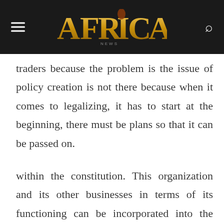AFRICA
traders because the problem is the issue of policy creation is not there because when it comes to legalizing, it has to start at the beginning, there must be plans so that it can be passed on.
within the constitution. This organization and its other businesses in terms of its functioning can be incorporated into the policy principles that affect it such as the Ministry of Trade and